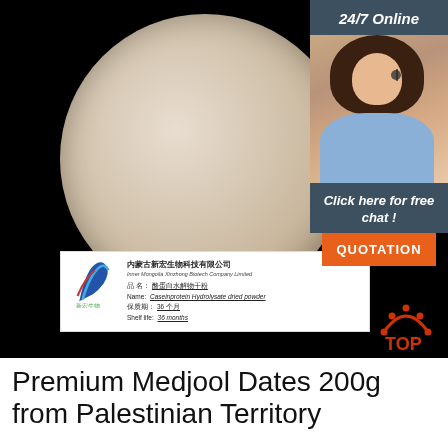[Figure (photo): Product photo showing a circular dish with beige/cream colored powder (Caseinprotein Hydrolysate dried powder) on a black background, with a product label card showing company name Inner Mongolia Xinzhong Biotech Company Limited, product name in Chinese and English, shelf life 36 months.]
[Figure (photo): Customer service agent photo with '24/7 Online' header and 'Click here for free chat!' text, with an orange QUOTATION button. Right-side panel overlay.]
[Figure (logo): Orange TOP badge/icon in bottom right of main image area.]
Premium Medjool Dates 200g from Palestinian Territory